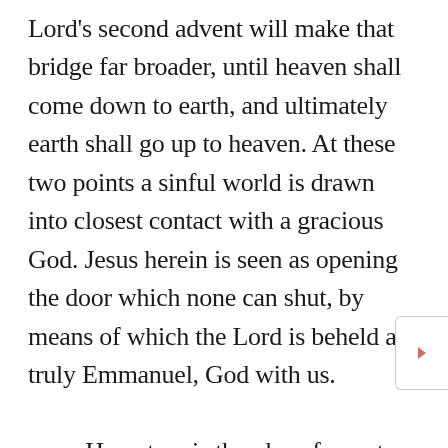Lord's second advent will make that bridge far broader, until heaven shall come down to earth, and ultimately earth shall go up to heaven. At these two points a sinful world is drawn into closest contact with a gracious God. Jesus herein is seen as opening the door which none can shut, by means of which the Lord is beheld as truly Emmanuel, God with us.

    Here, too, is the place for us to build a grand suspension bridge, by which, through faith, we ourselves may cross from this side to the other of the stormy river of